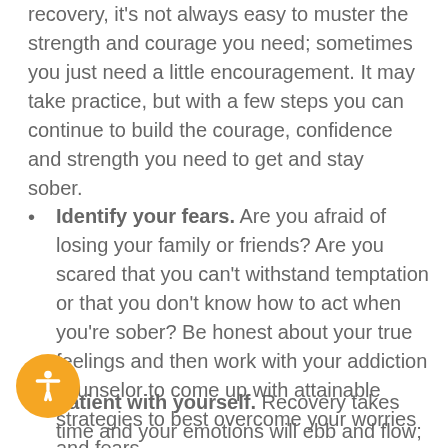recovery, it's not always easy to muster the strength and courage you need; sometimes you just need a little encouragement. It may take practice, but with a few steps you can continue to build the courage, confidence and strength you need to get and stay sober.
Identify your fears. Are you afraid of losing your family or friends? Are you scared that you can't withstand temptation or that you don't know how to act when you're sober? Be honest about your true feelings and then work with your addiction counselor to come up with attainable strategies to best overcome your worries and fears.
Be patient with yourself. Recovery takes time and your emotions will ebb and flow;